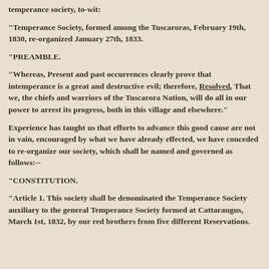temperance society, to-wit:
"Temperance Society, formed among the Tuscaroras, February 19th, 1830, re-organized January 27th, 1833.
"PREAMBLE.
"Whereas, Present and past occurrences clearly prove that intemperance is a great and destructive evil; therefore, Resolved, That we, the chiefs and warriors of the Tuscarora Nation, will do all in our power to arrest its progress, both in this village and elsewhere."
Experience has taught us that efforts to advance this good cause are not in vain, encouraged by what we have already effected, we have conceded to re-organize our society, which shall be named and governed as follows:--
"CONSTITUTION.
"Article 1. This society shall be denominated the Temperance Society auxiliary to the general Temperance Society formed at Cattaraugus, March 1st, 1832, by our red brothers from five different Reservations.